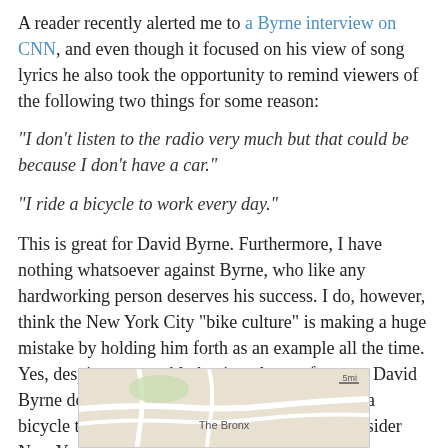A reader recently alerted me to a Byrne interview on CNN, and even though it focused on his view of song lyrics he also took the opportunity to remind viewers of the following two things for some reason:
"I don't listen to the radio very much but that could be because I don't have a car."
"I ride a bicycle to work every day."
This is great for David Byrne. Furthermore, I have nothing whatsoever against Byrne, who like any hardworking person deserves his success. I do, however, think the New York City "bike culture" is making a huge mistake by holding him forth as an example all the time. Yes, despite presumably having plenty of money David Byrne does not own a car; furthermore, he rides a bicycle to work (as many of us do). But let's consider New York City itself:
[Figure (map): Partial map of New York City showing The Bronx area, with scale indicator in upper right.]